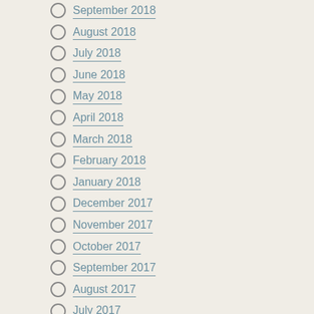September 2018
August 2018
July 2018
June 2018
May 2018
April 2018
March 2018
February 2018
January 2018
December 2017
November 2017
October 2017
September 2017
August 2017
July 2017
June 2017
May 2017
April 2017
March 2017
February 2017
January 2017
December 2016
November 2016
[Figure (photo): Dark teal/grey ocean or water surface photograph]
What is in your heart you want to d... move forward. You may be the ans...
Pray for and support other women.... women/ Encourage them. Iron sha...
Share your greatness and love. Pra... great works with the help of the Ho...
Pray for the hurting, homeless and... rejection, lonely, brokenhearted, po... encouragement, donations, love et... your neighbor, your community an...
Have a great Women's History Mon...
Tags: #inspirational, christian inspiration, history month
4 Compelling Reaso... Process by Dave R...